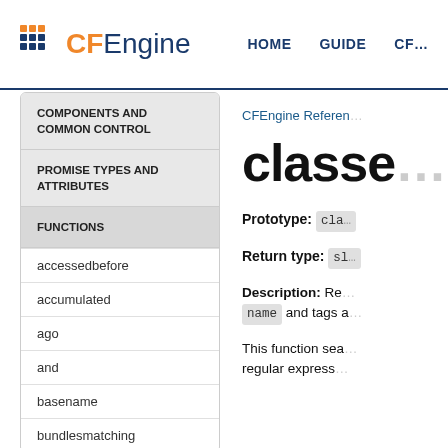CFEngine | HOME | GUIDE | CF...
COMPONENTS AND COMMON CONTROL
PROMISE TYPES AND ATTRIBUTES
FUNCTIONS
accessedbefore
accumulated
ago
and
basename
bundlesmatching
CFEngine Reference
classes
Prototype: classesmatching(name)
Return type: slist
Description: Returns a list of defined classes matching the regex name and tags a...
This function searches... regular express...